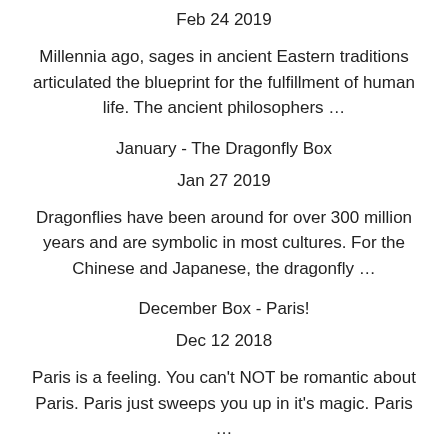Feb 24 2019
Millennia ago, sages in ancient Eastern traditions articulated the blueprint for the fulfillment of human life. The ancient philosophers …
January - The Dragonfly Box
Jan 27 2019
Dragonflies have been around for over 300 million years and are symbolic in most cultures. For the Chinese and Japanese, the dragonfly …
December Box - Paris!
Dec 12 2018
Paris is a feeling. You can't NOT be romantic about Paris. Paris just sweeps you up in it's magic. Paris …